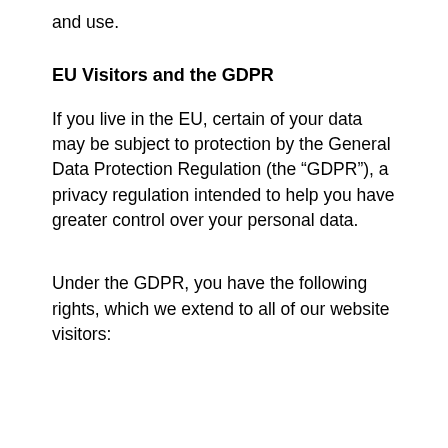and use.
EU Visitors and the GDPR
If you live in the EU, certain of your data may be subject to protection by the General Data Protection Regulation (the “GDPR”), a privacy regulation intended to help you have greater control over your personal data.
Under the GDPR, you have the following rights, which we extend to all of our website visitors: